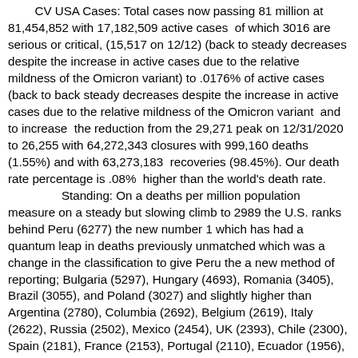CV USA Cases: Total cases now passing 81 million at 81,454,852 with 17,182,509 active cases of which 3016 are serious or critical, (15,517 on 12/12) (back to steady decreases despite the increase in active cases due to the relative mildness of the Omicron variant) to .0176% of active cases (back to back steady decreases despite the increase in active cases due to the relative mildness of the Omicron variant and to increase the reduction from the 29,271 peak on 12/31/2020 to 26,255 with 64,272,343 closures with 999,160 deaths (1.55%) and with 63,273,183 recoveries (98.45%). Our death rate percentage is .08% higher than the world's death rate. Standing: On a deaths per million population measure on a steady but slowing climb to 2989 the U.S. ranks behind Peru (6277) the new number 1 which has had a quantum leap in deaths previously unmatched which was a change in the classification to give Peru the a new method of reporting; Bulgaria (5297), Hungary (4693), Romania (3405), Brazil (3055), and Poland (3027) and slightly higher than Argentina (2780), Columbia (2692), Belgium (2619), Italy (2622), Russia (2502), Mexico (2454), UK (2393), Chile (2300), Spain (2181), France (2153), Portugal (2110), Ecuador (1956), Bolivia (1798), Sweden (1765) that never closed its economy down like we did, and Switzerland (1551). US Vaccinations: As of 02/21/22 - 558.7 million